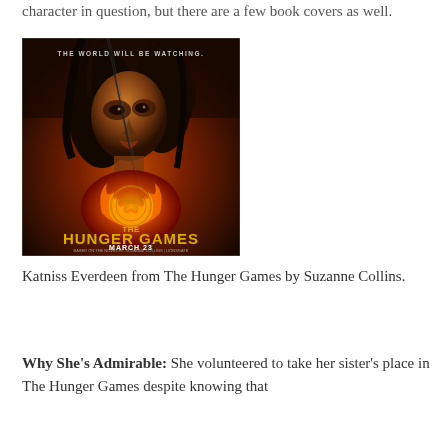character in question, but there are a few book covers as well.
[Figure (photo): Movie poster for The Hunger Games showing a young woman (Katniss Everdeen) holding a bow, with the text 'THE WORLD WILL BE WATCHING.' at the top, 'THE HUNGER GAMES' in large letters in the lower center, and 'MARCH 23' at the bottom.]
Katniss Everdeen from The Hunger Games by Suzanne Collins.
Why She's Admirable: She volunteered to take her sister's place in The Hunger Games despite knowing that